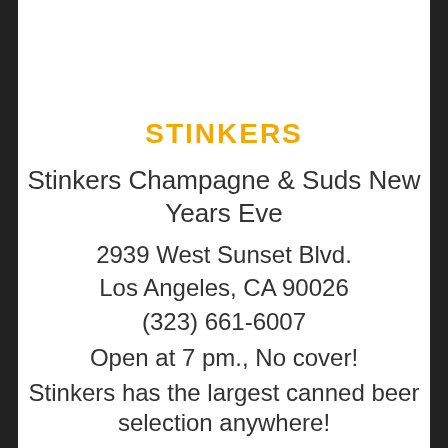STINKERS
Stinkers Champagne & Suds New Years Eve
2939 West Sunset Blvd.
Los Angeles, CA 90026
(323) 661-6007
Open at 7 pm., No cover!
Stinkers has the largest canned beer selection anywhere!